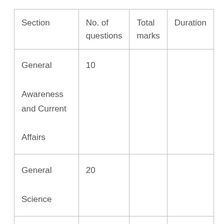| Section | No. of questions | Total marks | Duration |
| --- | --- | --- | --- |
| General Awareness and Current Affairs | 10 |  |  |
| General Science | 20 |  |  |
| Mathematics | 20 |  |  |
| General Intelligence & | 25 |  |  |